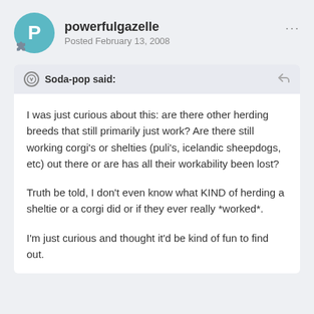powerfulgazelle
Posted February 13, 2008
Soda-pop said:
I was just curious about this: are there other herding breeds that still primarily just work? Are there still working corgi's or shelties (puli's, icelandic sheepdogs, etc) out there or are has all their workability been lost?
Truth be told, I don't even know what KIND of herding a sheltie or a corgi did or if they ever really *worked*.
I'm just curious and thought it'd be kind of fun to find out.